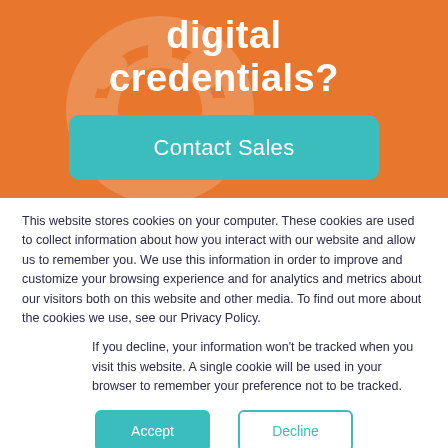digital credentials?
Contact Sales
This website stores cookies on your computer. These cookies are used to collect information about how you interact with our website and allow us to remember you. We use this information in order to improve and customize your browsing experience and for analytics and metrics about our visitors both on this website and other media. To find out more about the cookies we use, see our Privacy Policy.
If you decline, your information won't be tracked when you visit this website. A single cookie will be used in your browser to remember your preference not to be tracked.
Accept
Decline